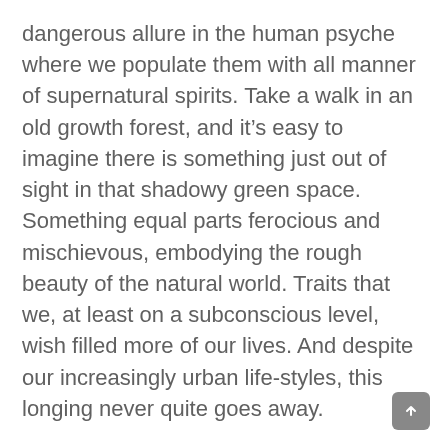dangerous allure in the human psyche where we populate them with all manner of supernatural spirits. Take a walk in an old growth forest, and it's easy to imagine there is something just out of sight in that shadowy green space. Something equal parts ferocious and mischievous, embodying the rough beauty of the natural world. Traits that we, at least on a subconscious level, wish filled more of our lives. And despite our increasingly urban life-styles, this longing never quite goes away.
For those days when you can't escape to the woods, Wonders' Drop Studio is bringing you a series of primordial STL sculptures that can help ease the call of the wild. At least for a while.